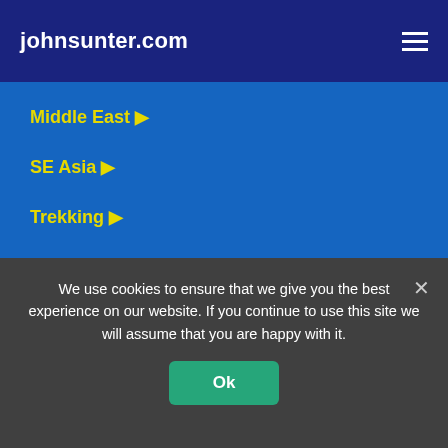johnsunter.com
Middle East ▶
SE Asia ▶
Trekking ▶
Uncategorised
Meta
Log in
Entries feed
Comments feed
We use cookies to ensure that we give you the best experience on our website. If you continue to use this site we will assume that you are happy with it.